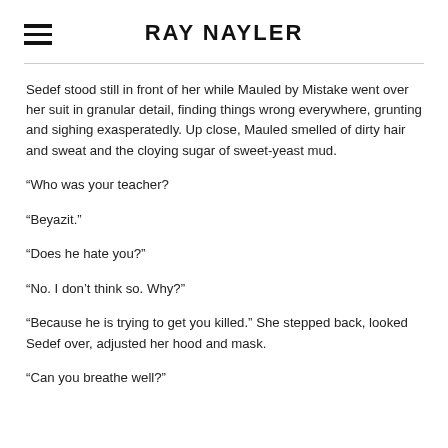RAY NAYLER
Sedef stood still in front of her while Mauled by Mistake went over her suit in granular detail, finding things wrong everywhere, grunting and sighing exasperatedly. Up close, Mauled smelled of dirty hair and sweat and the cloying sugar of sweet-yeast mud.
“Who was your teacher?
“Beyazit.”
“Does he hate you?”
“No. I don’t think so. Why?”
“Because he is trying to get you killed.” She stepped back, looked Sedef over, adjusted her hood and mask.
“Can you breathe well?”